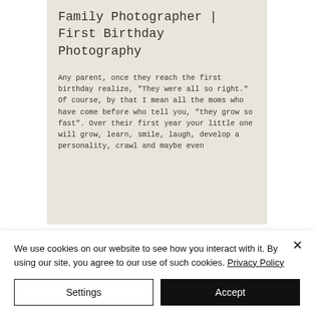Family Photographer | First Birthday Photography
Any parent, once they reach the first birthday realize, "They were all so right." Of course, by that I mean all the moms who have come before who tell you, "they grow so fast". Over their first year your little one will grow, learn, smile, laugh, develop a personality, crawl and maybe even
We use cookies on our website to see how you interact with it. By using our site, you agree to our use of such cookies. Privacy Policy
Settings
Accept